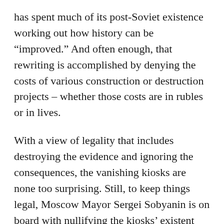has spent much of its post-Soviet existence working out how history can be “improved.” And often enough, that rewriting is accomplished by denying the costs of various construction or destruction projects – whether those costs are in rubles or in lives.
With a view of legality that includes destroying the evidence and ignoring the consequences, the vanishing kiosks are none too surprising. Still, to keep things legal, Moscow Mayor Sergei Sobyanin is on board with nullifying the kiosks’ existent paperwork. After all, what’s wrong with prettifying Moscow? He sees the demolition as a return to Moscow’s “open, beautiful, beloved” squares and streets – you know, with those wide, sweeping,